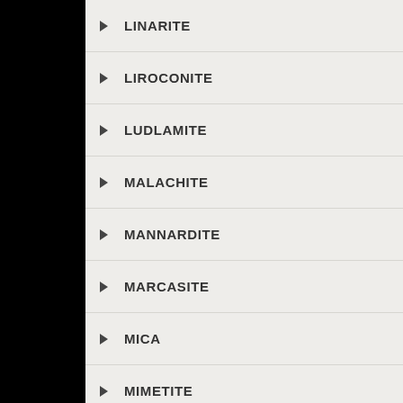LINARITE
LIROCONITE
LUDLAMITE
MALACHITE
MANNARDITE
MARCASITE
MICA
MIMETITE
MICROCLINE
MORGANITE
MOTTRAMITE
MUSCOVITE
NEPTUNITE
OLMIITE
Chat with shop